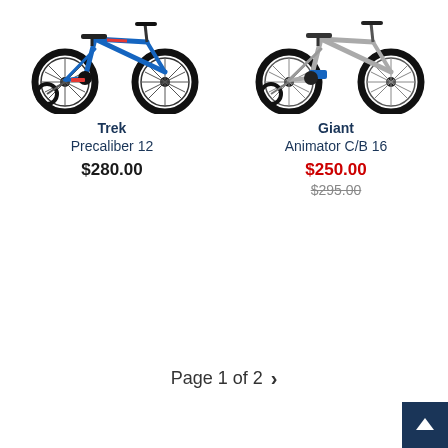[Figure (photo): Blue Trek Precaliber 12 children's bike with training wheels, bright blue frame with red accents]
[Figure (photo): Silver/grey Giant Animator C/B 16 children's bike with training wheels and blue accents]
Trek
Precaliber 12
$280.00
Giant
Animator C/B 16
$250.00
$295.00
Page 1 of 2 >